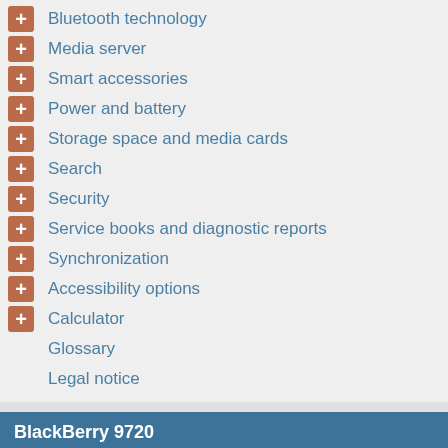Bluetooth technology
Media server
Smart accessories
Power and battery
Storage space and media cards
Search
Security
Service books and diagnostic reports
Synchronization
Accessibility options
Calculator
Glossary
Legal notice
BlackBerry 9720
العربية
Čeština
Deutsch
English